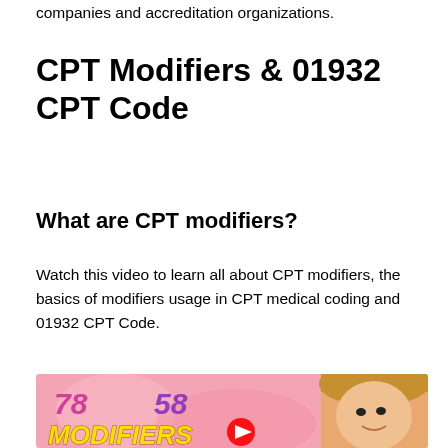companies and accreditation organizations.
CPT Modifiers & 01932 CPT Code
What are CPT modifiers?
Watch this video to learn all about CPT modifiers, the basics of modifiers usage in CPT medical coding and 01932 CPT Code.
[Figure (screenshot): Video thumbnail showing a woman on a pink background with the numbers 78 and 58 displayed in purple/pink, and the word MODIFIERS in yellow block letters, with a YouTube play button at the bottom center.]